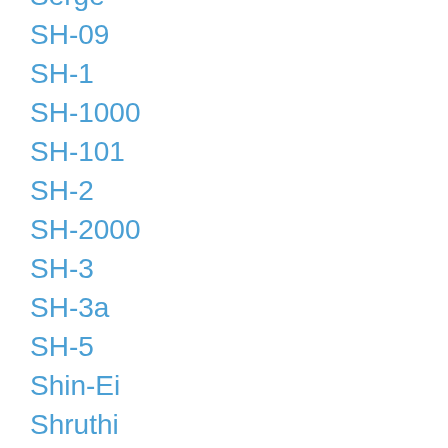Serge
SH-09
SH-1
SH-1000
SH-101
SH-2
SH-2000
SH-3
SH-3a
SH-5
Shin-Ei
Shruthi
SHS-10